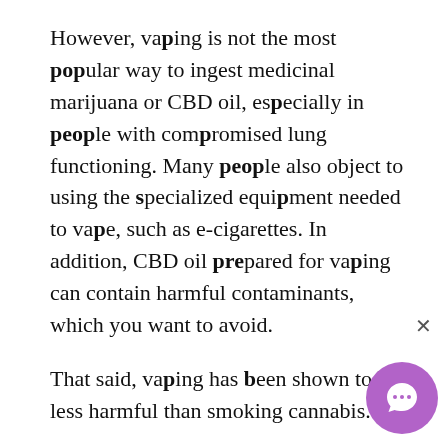However, vaping is not the most popular way to ingest medicinal marijuana or CBD oil, especially in people with compromised lung functioning. Many people also object to using the specialized equipment needed to vape, such as e-cigarettes. In addition, CBD oil prepared for vaping can contain harmful contaminants, which you want to avoid.
That said, vaping has been shown to be less harmful than smoking cannabis. [3]
RELATED: CBD Edibles Vs. Marijuana Edibles: All You Need to Know
How to Take CBD Oil for Longer Effect and Excellent Absorption—